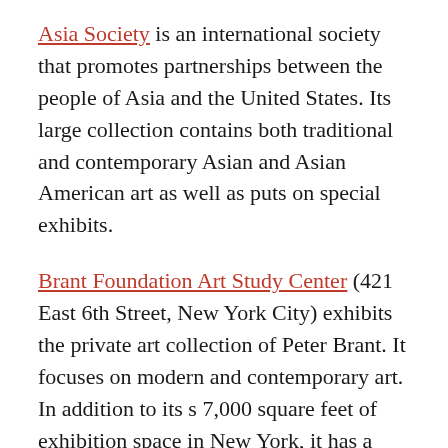Asia Society is an international society that promotes partnerships between the people of Asia and the United States. Its large collection contains both traditional and contemporary Asian and Asian American art as well as puts on special exhibits.
Brant Foundation Art Study Center (421 East 6th Street, New York City) exhibits the private art collection of Peter Brant. It focuses on modern and contemporary art. In addition to its s 7,000 square feet of exhibition space in New York, it has a second location in Greenwich.